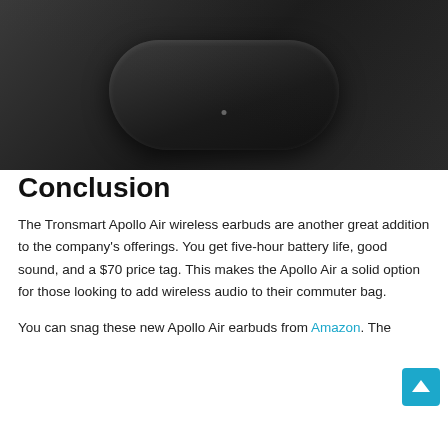[Figure (photo): Black wireless earbuds charging case open on a dark textured surface, showing two earbuds inside with stems visible.]
Conclusion
The Tronsmart Apollo Air wireless earbuds are another great addition to the company's offerings. You get five-hour battery life, good sound, and a $70 price tag. This makes the Apollo Air a solid option for those looking to add wireless audio to their commuter bag.
You can snag these new Apollo Air earbuds from Amazon. The